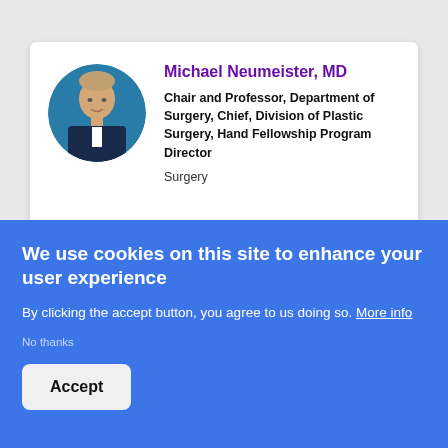[Figure (photo): Circular portrait photo of Michael Neumeister, MD — man in suit with blue background]
Michael Neumeister, MD
Chair and Professor, Department of Surgery, Chief, Division of Plastic Surgery, Hand Fellowship Program Director
Surgery
[Figure (photo): Circular portrait photo of Scott Pasichow, MD — partially visible]
Scott Pasichow, MD
We use cookies on this site to enhance your user experience
By clicking the accept button, you agree to us doing so. More info
No thanks
Accept